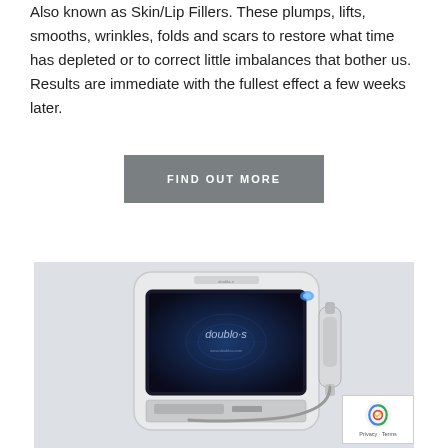Also known as Skin/Lip Fillers. These plumps, lifts, smooths, wrinkles, folds and scars to restore what time has depleted or to correct little imbalances that bother us. Results are immediate with the fullest effect a few weeks later.
FIND OUT MORE
[Figure (photo): A white medical/aesthetic device (doublo-s) with a dark blue touchscreen display showing the 'doublo-s' brand name, with a handheld applicator attached via cable on the right side. Device is photographed against a light grey background.]